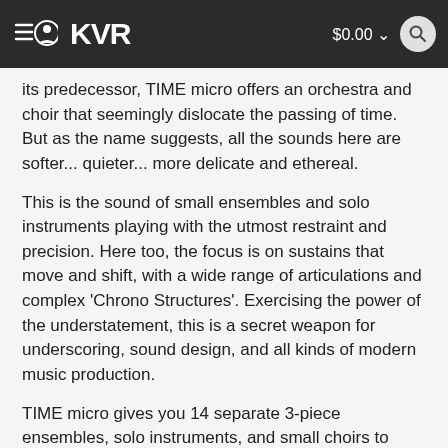KVR  $0.00
its predecessor, TIME micro offers an orchestra and choir that seemingly dislocate the passing of time. But as the name suggests, all the sounds here are softer... quieter... more delicate and ethereal.
This is the sound of small ensembles and solo instruments playing with the utmost restraint and precision. Here too, the focus is on sustains that move and shift, with a wide range of articulations and complex 'Chrono Structures'. Exercising the power of the understatement, this is a secret weapon for underscoring, sound design, and all kinds of modern music production.
TIME micro gives you 14 separate 3-piece ensembles, solo instruments, and small choirs to work with–all playing softly, from airy woodwind tones, harmonic waves, and flourishes to stuttering staccato performances and barely audible ultra-soft string bowings. Rather than standard